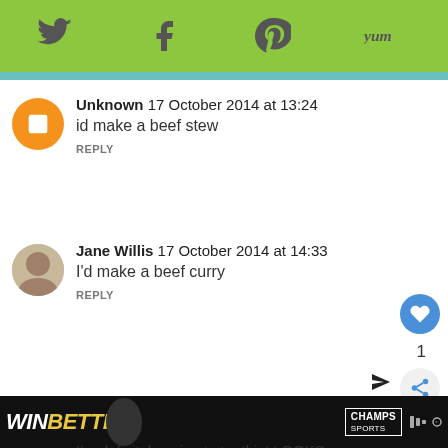[Figure (screenshot): Social share toolbar with Twitter, Facebook, Pinterest, and Yum icons on green background]
Unknown 17 October 2014 at 13:24 — id make a beef stew — REPLY
Jane Willis 17 October 2014 at 14:33 — I'd make a beef curry — REPLY — 1 like
Unknown 17 October 2014 at [time cut off] — I'm definitely going to try this! Looks really clever!
[Figure (screenshot): Advertisement bar at bottom: WIN BETTER Champs Sports ad with basketball player]